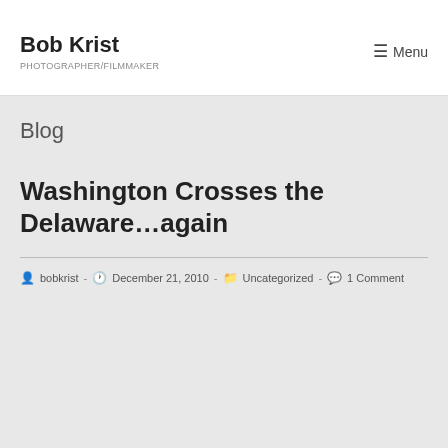Bob Krist PHOTOGRAPHER/FILMMAKER
Menu
Blog
Washington Crosses the Delaware…again
bobkrist - December 21, 2010 - Uncategorized - 1 Comment